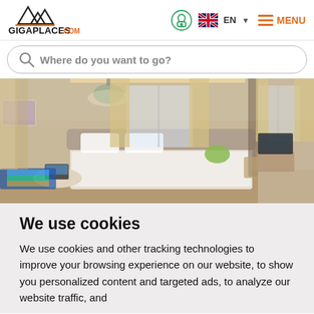[Figure (logo): GigaPlaces.com mountain logo with text]
[Figure (screenshot): Navigation icons: user/lock icon (circle), UK flag with EN language selector, hamburger menu with MENU text in orange]
Where do you want to go?
[Figure (photo): Hotel room interior with bed, pendant lamp, curtains, laptop on table, colorful pillows]
We use cookies
We use cookies and other tracking technologies to improve your browsing experience on our website, to show you personalized content and targeted ads, to analyze our website traffic, and